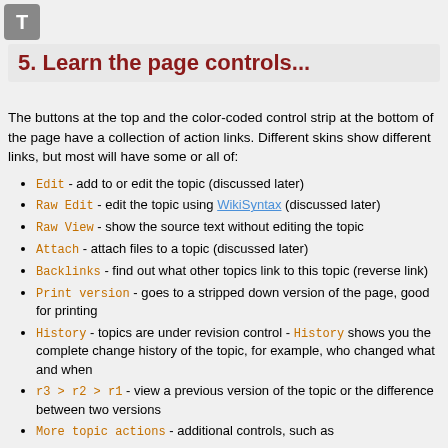5. Learn the page controls...
The buttons at the top and the color-coded control strip at the bottom of the page have a collection of action links. Different skins show different links, but most will have some or all of:
Edit - add to or edit the topic (discussed later)
Raw Edit - edit the topic using WikiSyntax (discussed later)
Raw View - show the source text without editing the topic
Attach - attach files to a topic (discussed later)
Backlinks - find out what other topics link to this topic (reverse link)
Print version - goes to a stripped down version of the page, good for printing
History - topics are under revision control - History shows you the complete change history of the topic, for example, who changed what and when
r3 > r2 > r1 - view a previous version of the topic or the difference between two versions
More topic actions - additional controls, such as